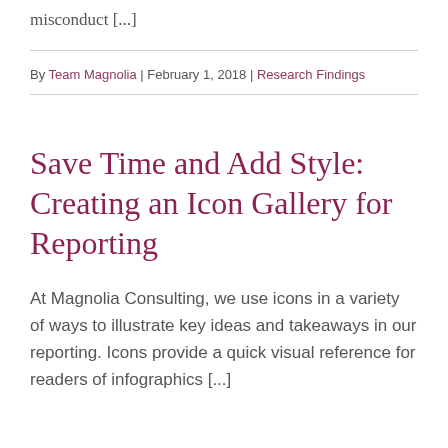misconduct [...]
By Team Magnolia | February 1, 2018 | Research Findings
Save Time and Add Style: Creating an Icon Gallery for Reporting
At Magnolia Consulting, we use icons in a variety of ways to illustrate key ideas and takeaways in our reporting. Icons provide a quick visual reference for readers of infographics [...]